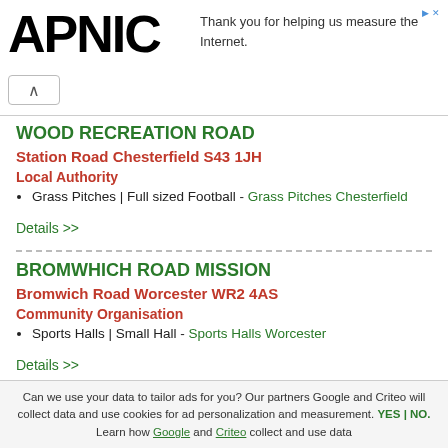APNIC — Thank you for helping us measure the Internet.
WOOD RECREATION ROAD
Station Road Chesterfield S43 1JH
Local Authority
Grass Pitches | Full sized Football - Grass Pitches Chesterfield
Details >>
BROMWHICH ROAD MISSION
Bromwich Road Worcester WR2 4AS
Community Organisation
Sports Halls | Small Hall - Sports Halls Worcester
Details >>
Can we use your data to tailor ads for you? Our partners Google and Criteo will collect data and use cookies for ad personalization and measurement. YES | NO. Learn how Google and Criteo collect and use data